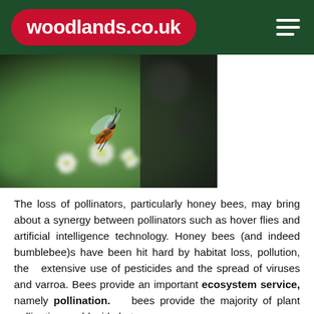woodlands.co.uk
[Figure (photo): Close-up photograph of a bee or hoverfly pollinating white flowers, with a blurred green and dark background.]
The loss of pollinators, particularly honey bees, may bring about a synergy between pollinators such as hover flies and artificial intelligence technology. Honey bees (and indeed bumblebee)s have been hit hard by habitat loss, pollution, the extensive use of pesticides and the spread of viruses and varroa. Bees provide an important ecosystem service, namely pollination. bees provide the majority of plant pollination world-wide but